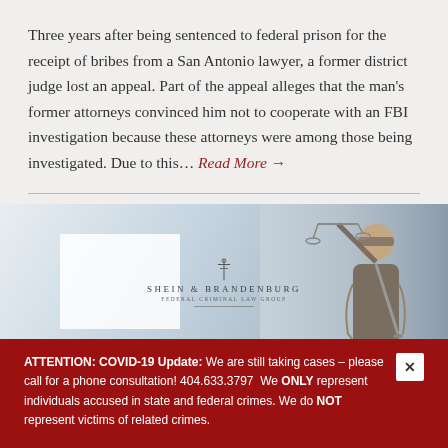Three years after being sentenced to federal prison for the receipt of bribes from a San Antonio lawyer, a former district judge lost an appeal. Part of the appeal alleges that the man's former attorneys convinced him not to cooperate with an FBI investigation because these attorneys were among those being investigated. Due to this… Read More →
[Figure (photo): Law firm banner image with Lady Justice statue on the right and the Shein & Brandenburg Federal Criminal Law Group logo centered over a blurred light blue/grey background on the left.]
ATTENTION: COVID-19 Update: We are still taking cases – please call for a phone consultation! 404.633.3797  We ONLY represent individuals accused in state and federal crimes. We do NOT represent victims of related crimes.